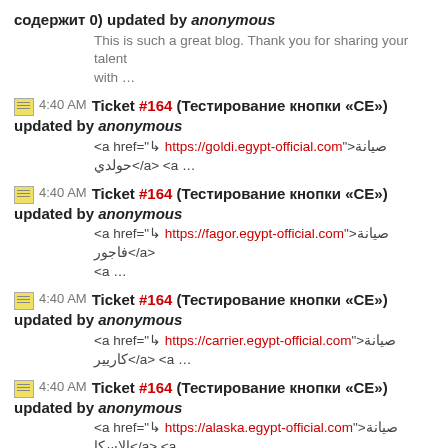содержит 0) updated by anonymous
This is such a great blog. Thank you for sharing your talent with …
4:40 AM Ticket #164 (Тестирование кнопки «CE») updated by anonymous
<a href="↳ https://goldi.egypt-official.com">صيانة حولدي</a> <a …
4:40 AM Ticket #164 (Тестирование кнопки «CE») updated by anonymous
<a href="↳ https://fagor.egypt-official.com">صيانة فاجور</a> <a …
4:40 AM Ticket #164 (Тестирование кнопки «CE») updated by anonymous
<a href="↳ https://carrier.egypt-official.com">صيانة كاريير</a> <a …
4:40 AM Ticket #164 (Тестирование кнопки «CE») updated by anonymous
<a href="↳ https://alaska.egypt-official.com">صيانة الاسكا</a> <a …